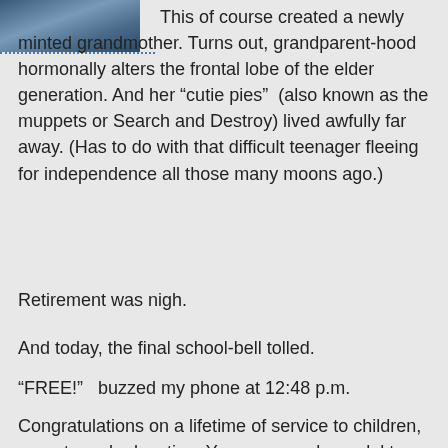[Figure (photo): Partial photo of people, cropped at top-left corner of page]
This of course created a newly minted grandmother. Turns out, grandparent-hood hormonally alters the frontal lobe of the elder generation. And her â€œcutie piesâ€ (also known as the muppets or Search and Destroy) lived awfully far away. (Has to do with that difficult teenager fleeing for independence all those many moons ago.)
Retirement was nigh.
And today, the final school-bell tolled.
â€œFREE!â€ buzzed my phone at 12:48 p.m.
Congratulations on a lifetime of service to children, parents and education. You were a role model to so many more than just my brother and me. Your passion and commitment was unrivaled.